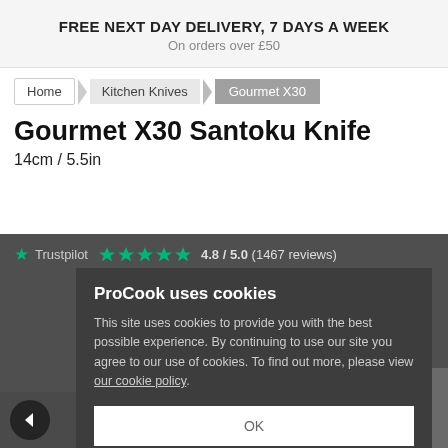FREE NEXT DAY DELIVERY, 7 DAYS A WEEK
On orders over £50
Home
Kitchen Knives
Gourmet X30
Gourmet X30 Santoku Knife
14cm / 5.5in
★ Trustpilot ★★★★★ 4.8 / 5.0 (1467 reviews)
ProCook uses cookies
This site uses cookies to provide you with the best possible experience. By continuing to use our site you agree to our use of cookies. To find out more, please view our cookie policy.
OK